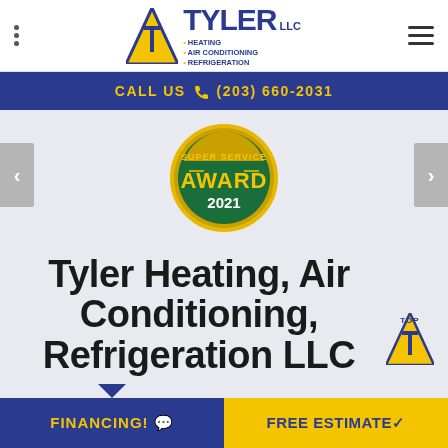[Figure (logo): Tyler LLC logo with blue triangle T icon and text: TYLER LLC, Heating, Air Conditioning, Refrigeration]
CALL US (203) 660-2031
[Figure (illustration): Angi Super Service Award 2021 badge - circular gold and green award badge]
Tyler Heating, Air Conditioning, Refrigeration LLC
FINANCING!
FREE ESTIMATE